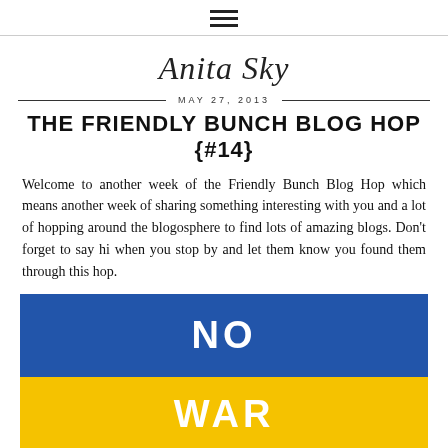≡ (hamburger menu icon)
Anita Sky
MAY 27, 2013
THE FRIENDLY BUNCH BLOG HOP {#14}
Welcome to another week of the Friendly Bunch Blog Hop which means another week of sharing something interesting with you and a lot of hopping around the blogosphere to find lots of amazing blogs. Don't forget to say hi when you stop by and let them know you found them through this hop.
[Figure (illustration): Blue and yellow banner graphic with 'NO WAR' text — blue upper half with 'NO' in white, yellow lower half with 'WAR' in white.]